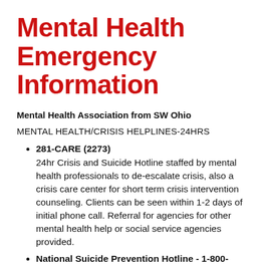Mental Health Emergency Information
Mental Health Association from SW Ohio
MENTAL HEALTH/CRISIS HELPLINES-24HRS
281-CARE (2273) 24hr Crisis and Suicide Hotline staffed by mental health professionals to de-escalate crisis, also a crisis care center for short term crisis intervention counseling. Clients can be seen within 1-2 days of initial phone call. Referral for agencies for other mental health help or social service agencies provided.
National Suicide Prevention Hotline - 1-800-